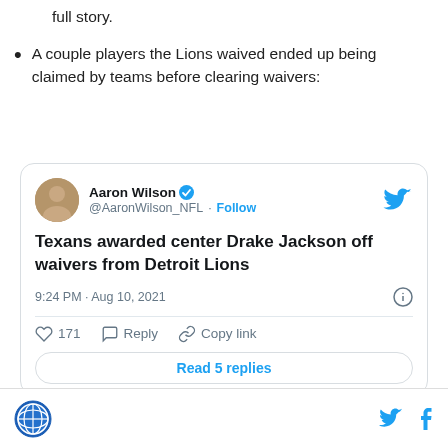full story.
A couple players the Lions waived ended up being claimed by teams before clearing waivers:
[Figure (screenshot): Embedded tweet from @AaronWilson_NFL: 'Texans awarded center Drake Jackson off waivers from Detroit Lions', 9:24 PM · Aug 10, 2021, 171 likes, Reply, Copy link, Read 5 replies]